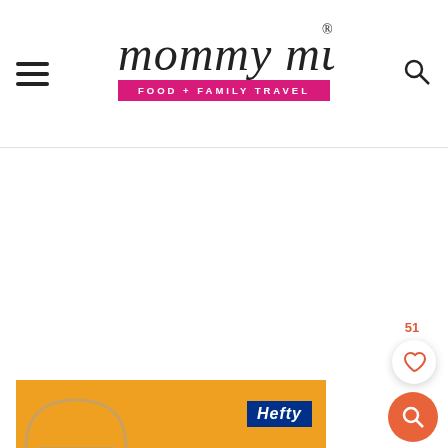mommy musings® FOOD + FAMILY TRAVEL
[Figure (screenshot): White content area with social save sidebar showing 51 saves heart button and orange search button]
[Figure (other): Advertisement banner with orange background showing Hefty logo and promotional content]